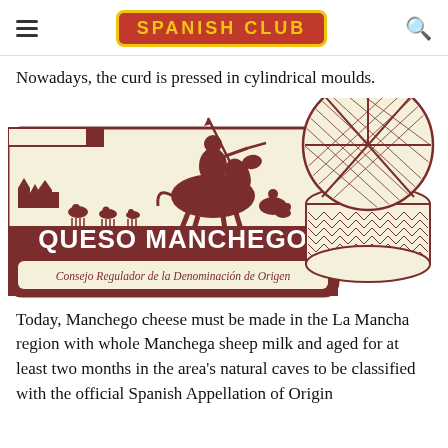SPANISH CLUB
Nowadays, the curd is pressed in cylindrical moulds.
[Figure (logo): Queso Manchego official designation of origin logo featuring Don Quixote on horseback with sheep and a village, alongside an illustration of a cylindrical Manchego cheese wheel. Text reads: QUESO MANCHEGO, Consejo Regulador de la Denominación de Origen]
Today, Manchego cheese must be made in the La Mancha region with whole Manchega sheep milk and aged for at least two months in the area's natural caves to be classified with the official Spanish Appellation of Origin